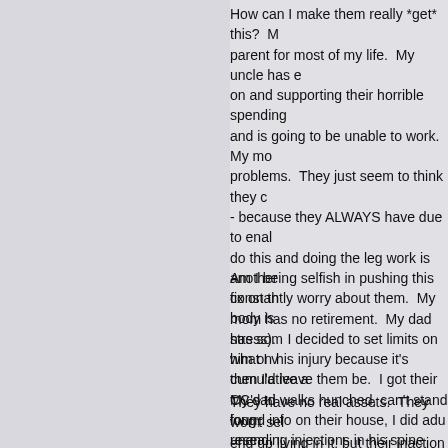How can I make them really *get* this?  My uncle has been enabling them on and supporting their horrible spending and is going to be unable to work.  My mom has problems.  They just seem to think they can - because they ALWAYS have due to enabling - do this and doing the leg work is another constantly worry about them.  My body is (stress).   I decided to set limits on what I would do, then I'd leave them be.  I got their CC's, found info on their house, I did research on things.  And after this presentation, I'm done - they can make informed decisions on their own.
Am I being selfish in pushing this fix on them? My mom has no retirement.  My dad has some - him on his injury because it's cumulative and My dad walks hunched, can't stand long, gets unending injections in his spine and is on medical exams keep saying he is totally fine. FINE.
They have no real assets.  They won't sell - end up living in it, but their inaction is why